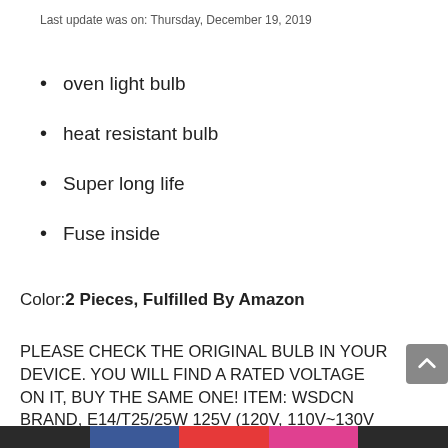Last update was on: Thursday, December 19, 2019
oven light bulb
heat resistant bulb
Super long life
Fuse inside
Color:2 Pieces, Fulfilled By Amazon
PLEASE CHECK THE ORIGINAL BULB IN YOUR DEVICE. YOU WILL FIND A RATED VOLTAGE ON IT, BUY THE SAME ONE! ITEM: WSDCN BRAND, E14/T25/25W 125V (120V, 110V~130V Compatible) OVEN BULB, OVEN LAMP, HEAT RESISTANCE BULB 300C DESCRIPTION: E14/T25/25W...